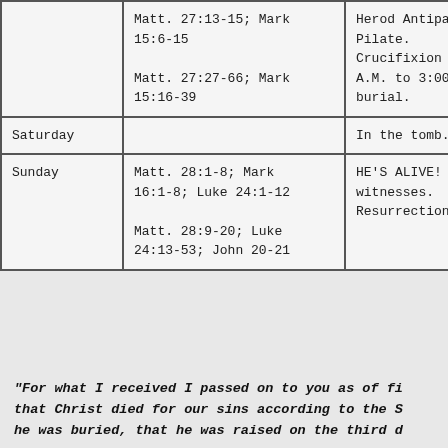| Day | Scripture References | Description |
| --- | --- | --- |
|  | Matt. 27:13-15; Mark 15:6-15
Matt. 27:27-66; Mark 15:16-39 | Herod Antipas, Pilate. Crucifixion A.M. to 3:00 burial. |
| Saturday |  | In the tomb. |
| Sunday | Matt. 28:1-8; Mark 16:1-8; Luke 24:1-12
Matt. 28:9-20; Luke 24:13-53; John 20-21 | HE'S ALIVE! witnesses. Resurrection |
"For what I received I passed on to you as of fi that Christ died for our sins according to the S he was buried, that he was raised on the third d